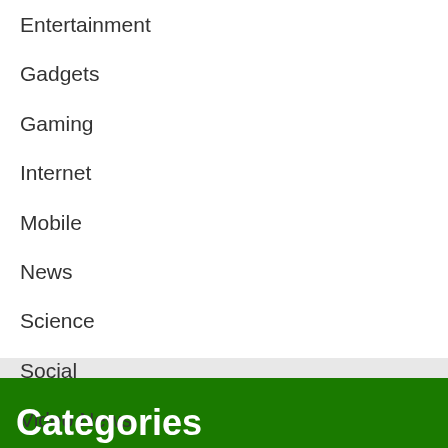Entertainment
Gadgets
Gaming
Internet
Mobile
News
Science
Social
Video News
Categories